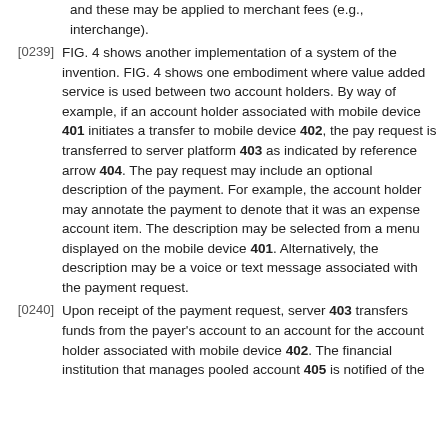and these may be applied to merchant fees (e.g., interchange).
[0239] FIG. 4 shows another implementation of a system of the invention. FIG. 4 shows one embodiment where value added service is used between two account holders. By way of example, if an account holder associated with mobile device 401 initiates a transfer to mobile device 402, the pay request is transferred to server platform 403 as indicated by reference arrow 404. The pay request may include an optional description of the payment. For example, the account holder may annotate the payment to denote that it was an expense account item. The description may be selected from a menu displayed on the mobile device 401. Alternatively, the description may be a voice or text message associated with the payment request.
[0240] Upon receipt of the payment request, server 403 transfers funds from the payer's account to an account for the account holder associated with mobile device 402. The financial institution that manages pooled account 405 is notified of the